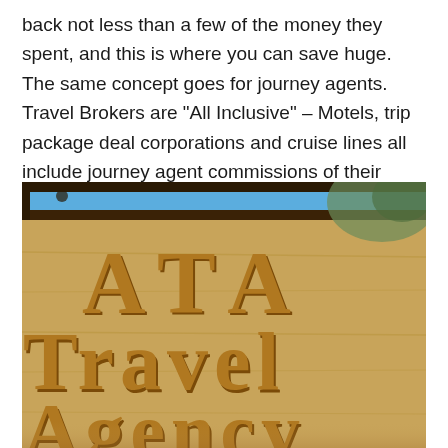back not less than a few of the money they spent, and this is where you can save huge. The same concept goes for journey agents. Travel Brokers are "All Inclusive" – Motels, trip package deal corporations and cruise lines all include journey agent commissions of their published prices.
[Figure (photo): Close-up photo of a wooden carved sign reading 'ATA Travel Agency' with raised carved letters on a light wood background, blue sky visible at the top]